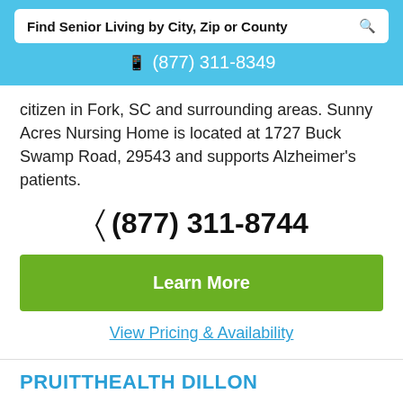Find Senior Living by City, Zip or County
(877) 311-8349
citizen in Fork, SC and surrounding areas. Sunny Acres Nursing Home is located at 1727 Buck Swamp Road, 29543 and supports Alzheimer's patients.
(877) 311-8744
Learn More
View Pricing & Availability
PRUITTHEALTH DILLON